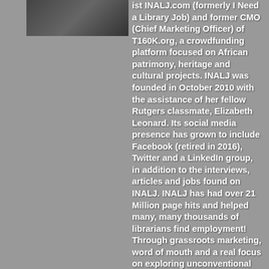[Figure (photo): Partial view of a person's photo at top left]
ist INALJ.com (formerly I Need a Library Job) and former CMO (Chief Marketing Officer) of T160K.org, a crowdfunding platform focused on African patrimony, heritage and cultural projects. INALJ was founded in October 2010 with the assistance of her fellow Rutgers classmate, Elizabeth Leonard. Its social media presence has grown to include Facebook (retired in 2016), Twitter and a LinkedIn group, in addition to the interviews, articles and jobs found on INALJ. INALJ has had over 21 Million page hits and helped many, many thousands of librarians find employment! Through grassroots marketing, word of mouth and a real focus on exploring unconventional resources for job leads, INALJ grew from a subscription base of 20 friends to a website with over 500,000 visits in one month. Naomi believes that well-sourced quantity is quality in this narrow job market and INALJ reflects this with many new jobs published daily. She has also written for the 2011, 2012 and 2013